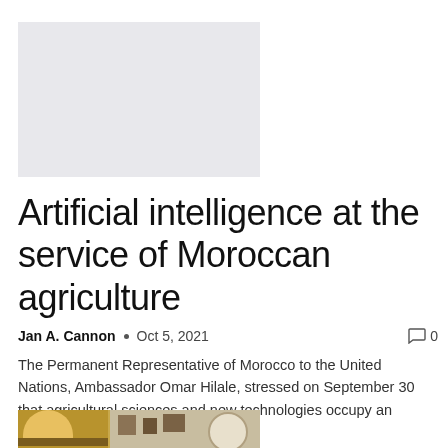[Figure (other): Light gray placeholder image rectangle]
Artificial intelligence at the service of Moroccan agriculture
Jan A. Cannon  •  Oct 5, 2021    ⌨ 0
The Permanent Representative of Morocco to the United Nations, Ambassador Omar Hilale, stressed on September 30 that agricultural sciences and new technologies occupy an important...
[Figure (photo): Interior photo showing a bar/restaurant area with shelves of bottles on the left and a decorative wall with framed pictures and a round pendant lamp on the right]